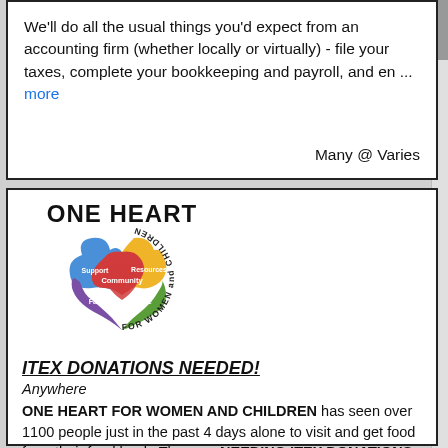We'll do all the usual things you'd expect from an accounting firm (whether locally or virtually) - file your taxes, complete your bookkeeping and payroll, and en ... more
Many @ Varies
[Figure (logo): One Heart For Women and Children logo: heart shape made of colorful puzzle pieces labeled Support, Resources, Community, Faith, Hope, with circular text 'FOR WOMEN and CHILDREN']
ITEX DONATIONS NEEDED!
Anywhere
ONE HEART FOR WOMEN AND CHILDREN has seen over 1100 people just in the past 4 days alone to visit and get food from their food bank. They are NEEDING ITEX DONATIONS so they can help